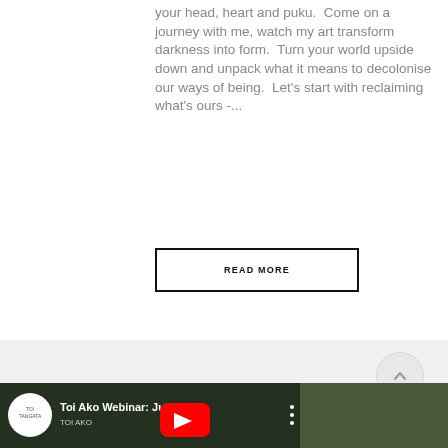your head, heart and puku.  Come on a journey with me, watch my art transform darkness into form.  Turn your world upside down and unpack what it means to decolonise our ways of being.  Let's start with reclaiming what's ours -...
READ MORE
[Figure (screenshot): YouTube video thumbnail for 'Toi Ako Webinar: Jus...' with Toi Tangata logo avatar on white circle background, red YouTube play button, and a thumbnail image of a person. Three-dot menu icon visible.]